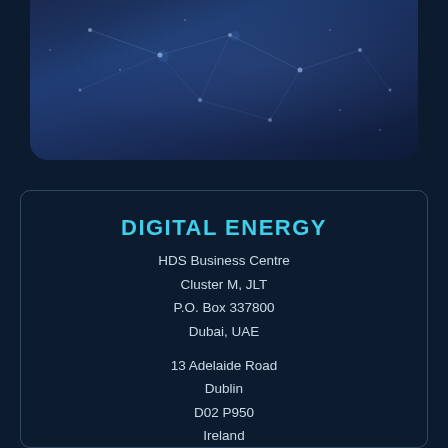[Figure (illustration): Dark blue background image with abstract constellation/network lines and glowing dots, styled as a tech/digital imagery panel with rounded bottom corners]
DIGITAL ENERGY
HDS Business Centre
Cluster M, JLT
P.O. Box 337800
Dubai, UAE
13 Adelaide Road
Dublin
D02 P950
Ireland